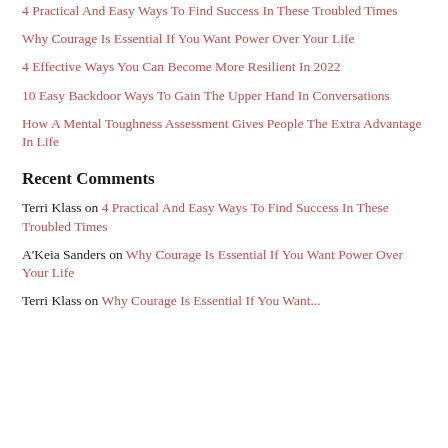4 Practical And Easy Ways To Find Success In These Troubled Times
Why Courage Is Essential If You Want Power Over Your Life
4 Effective Ways You Can Become More Resilient In 2022
10 Easy Backdoor Ways To Gain The Upper Hand In Conversations
How A Mental Toughness Assessment Gives People The Extra Advantage In Life
Recent Comments
Terri Klass on 4 Practical And Easy Ways To Find Success In These Troubled Times
A'Keia Sanders on Why Courage Is Essential If You Want Power Over Your Life
Terri Klass on Why Courage Is Essential If You Want...